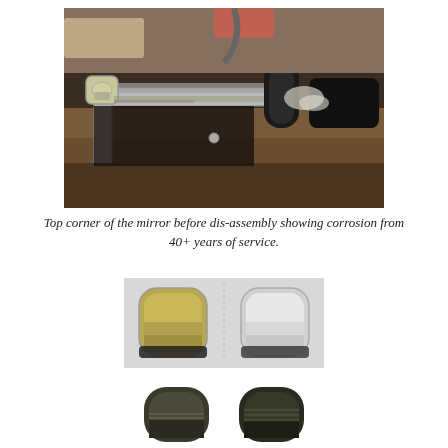[Figure (photo): Top corner of a mirror frame before dis-assembly, showing corrosion and metal hardware with black components and a screwed bracket, after 40+ years of service.]
Top corner of the mirror before dis-assembly showing corrosion from 40+ years of service.
[Figure (photo): Two metal corner brackets side by side — one tarnished/corroded on the left, one polished/cleaned on the right.]
[Figure (photo): Two black rubber or plastic corner caps/bumpers side by side, partially visible at bottom of page.]